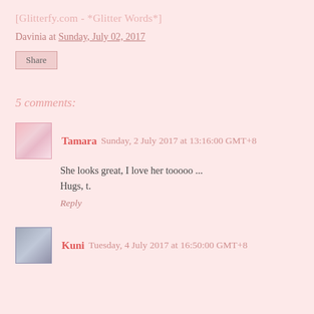[Glitterfy.com - *Glitter Words*]
Davinia at Sunday, July 02, 2017
Share
5 comments:
Tamara  Sunday, 2 July 2017 at 13:16:00 GMT+8
She looks great, I love her tooooo ...
Hugs, t.
Reply
Kuni  Tuesday, 4 July 2017 at 16:50:00 GMT+8